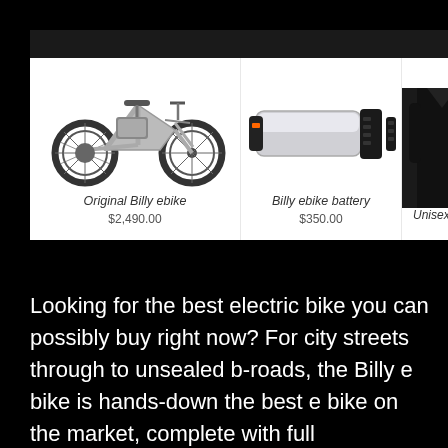[Figure (screenshot): E-commerce product listing screenshot showing three products: Original Billy ebike ($2,490.00), Billy ebike battery ($350.00), and a partially visible Unisex item. Dark background with white product cards.]
Looking for the best electric bike you can possibly buy right now? For city streets through to unsealed b-roads, the Billy e bike is hands-down the best e bike on the market, complete with full suspension, Gates Carbon Drive, twist